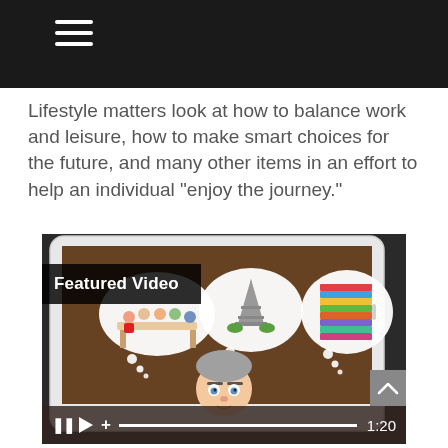Lifestyle matters look at how to balance work and leisure, how to make smart choices for the future, and many other items in an effort to help an individual “enjoy the journey.”
[Figure (screenshot): A featured video player showing a tablet being held by hands, with an animated illustration on screen of an elderly man with thought bubbles showing a family dinner, the Eiffel Tower, and a stack of books. The video has a 'Featured Video' label overlay and a playback control bar showing time 1:20.]